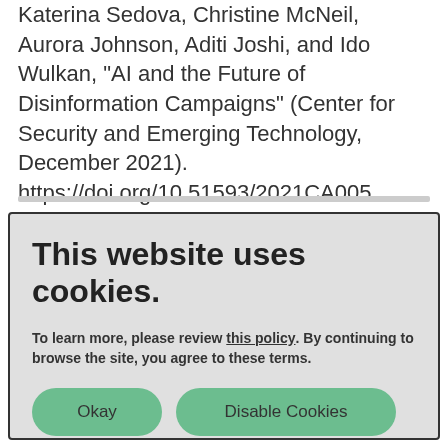Katerina Sedova, Christine McNeil, Aurora Johnson, Aditi Joshi, and Ido Wulkan, "AI and the Future of Disinformation Campaigns" (Center for Security and Emerging Technology, December 2021). https://doi.org/10.51593/2021CA005
[Figure (screenshot): Cookie consent banner with title 'This website uses cookies.' and options to accept or disable cookies.]